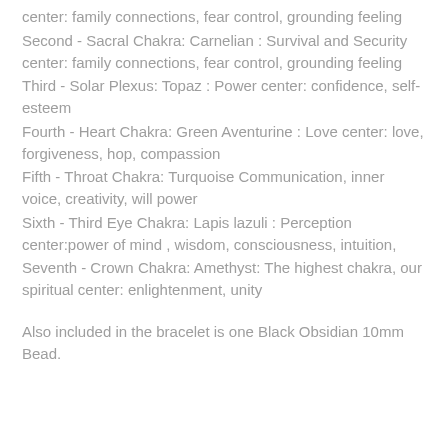center: family connections, fear control, grounding feeling
Second - Sacral Chakra: Carnelian : Survival and Security center: family connections, fear control, grounding feeling
Third - Solar Plexus: Topaz : Power center: confidence, self-esteem
Fourth - Heart Chakra: Green Aventurine : Love center: love, forgiveness, hop, compassion
Fifth - Throat Chakra: Turquoise Communication, inner voice, creativity, will power
Sixth - Third Eye Chakra: Lapis lazuli : Perception center:power of mind , wisdom, consciousness, intuition,
Seventh - Crown Chakra: Amethyst: The highest chakra, our spiritual center: enlightenment, unity
Also included in the bracelet is one Black Obsidian 10mm Bead.